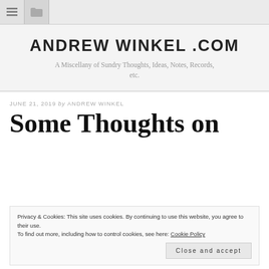Navigation bar with menu and folder icons
ANDREW WINKEL .COM
A Miscellany of Sundry Thoughts, Ideas, Notes, Records, etc.
JUNE 21, 2019 by ANDREW WINKEL
Some Thoughts on
Privacy & Cookies: This site uses cookies. By continuing to use this website, you agree to their use.
To find out more, including how to control cookies, see here: Cookie Policy
Close and accept